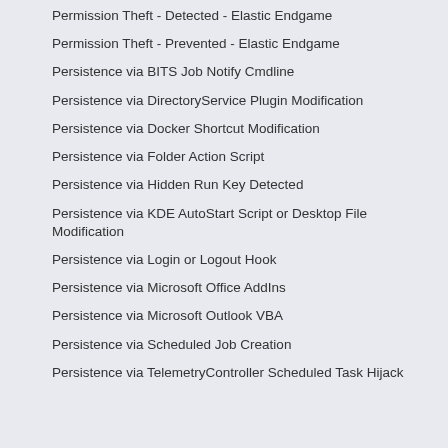Permission Theft - Detected - Elastic Endgame
Permission Theft - Prevented - Elastic Endgame
Persistence via BITS Job Notify Cmdline
Persistence via DirectoryService Plugin Modification
Persistence via Docker Shortcut Modification
Persistence via Folder Action Script
Persistence via Hidden Run Key Detected
Persistence via KDE AutoStart Script or Desktop File Modification
Persistence via Login or Logout Hook
Persistence via Microsoft Office AddIns
Persistence via Microsoft Outlook VBA
Persistence via Scheduled Job Creation
Persistence via TelemetryController Scheduled Task Hijack